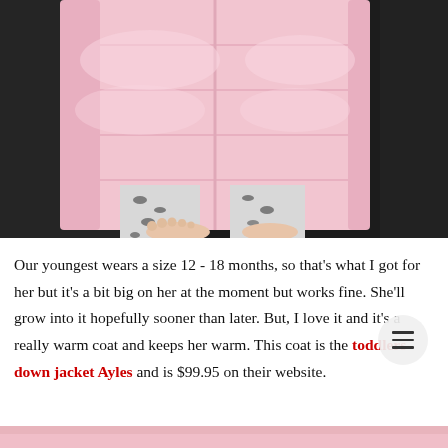[Figure (photo): Close-up photo of a toddler wearing a pink puffer down jacket over animal print leggings, standing barefoot on a dark surface. Only the torso and feet are visible, no face shown.]
Our youngest wears a size 12 - 18 months, so that's what I got for her but it's a bit big on her at the moment but works fine. She'll grow into it hopefully sooner than later. But, I love it and it's a really warm coat and keeps her warm. This coat is the toddlers down jacket Ayles and is $99.95 on their website.
[Figure (photo): Partial view of another photo at the bottom of the page, showing pink tones.]